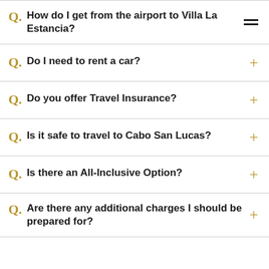Q. How do I get from the airport to Villa La Estancia?
Q. Do I need to rent a car?
Q. Do you offer Travel Insurance?
Q. Is it safe to travel to Cabo San Lucas?
Q. Is there an All-Inclusive Option?
Q. Are there any additional charges I should be prepared for?